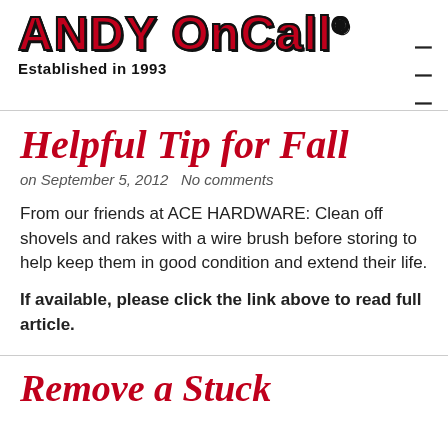ANDY OnCall® Established in 1993
Helpful Tip for Fall
on September 5, 2012 No comments
From our friends at ACE HARDWARE: Clean off shovels and rakes with a wire brush before storing to help keep them in good condition and extend their life.
If available, please click the link above to read full article.
Remove a Stuck